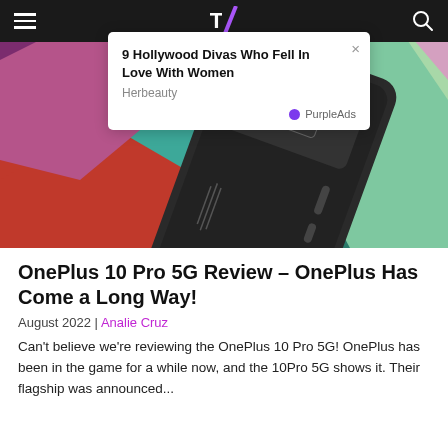Navigation bar with hamburger menu, site logo, and search icon
[Figure (infographic): Advertisement popup overlay: '9 Hollywood Divas Who Fell In Love With Women' by Herbeauty, with PurpleAds branding and close button]
[Figure (photo): OnePlus 10 Pro 5G smartphone photographed from the back, placed on a colorful geometric patterned surface with triangles in teal, red, purple, green, and pink colors]
OnePlus 10 Pro 5G Review – OnePlus Has Come a Long Way!
August 2022 | Analie Cruz
Can't believe we're reviewing the OnePlus 10 Pro 5G! OnePlus has been in the game for a while now, and the 10Pro 5G shows it. Their flagship was announced...